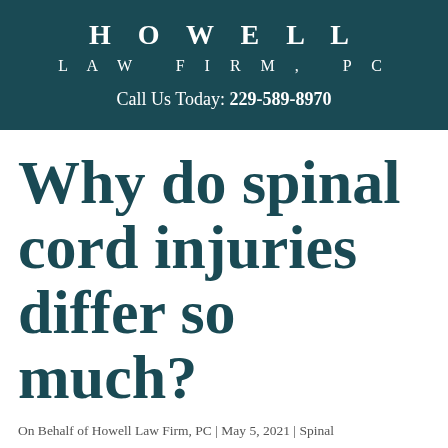HOWELL LAW FIRM, PC
Call Us Today: 229-589-8970
Why do spinal cord injuries differ so much?
On Behalf of Howell Law Firm, PC | May 5, 2021 | Spinal